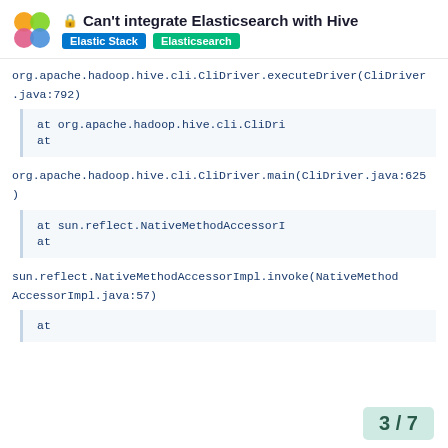Can't integrate Elasticsearch with Hive | Elastic Stack | Elasticsearch
org.apache.hadoop.hive.cli.CliDriver.executeDriver(CliDriver.java:792)
at org.apache.hadoop.hive.cli.CliDri
at
org.apache.hadoop.hive.cli.CliDriver.main(CliDriver.java:625)
at sun.reflect.NativeMethodAccessorI
at
sun.reflect.NativeMethodAccessorImpl.invoke(NativeMethodAccessorImpl.java:57)
at
3 / 7